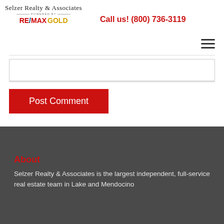[Figure (logo): Selzer Realty & Associates powered by RE/MAX GOLD logo]
Call us! (800) 736-3119
[Figure (other): Hamburger menu icon (three horizontal lines)]
[Figure (other): Comment text input box]
Post Comment
About
Selzer Realty & Associates is the largest independent, full-service real estate team in Lake and Mendocino